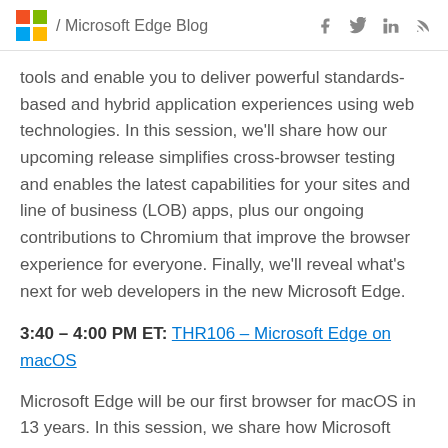/ Microsoft Edge Blog
tools and enable you to deliver powerful standards-based and hybrid application experiences using web technologies. In this session, we'll share how our upcoming release simplifies cross-browser testing and enables the latest capabilities for your sites and line of business (LOB) apps, plus our ongoing contributions to Chromium that improve the browser experience for everyone. Finally, we'll reveal what's next for web developers in the new Microsoft Edge.
3:40 – 4:00 PM ET: THR106 – Microsoft Edge on macOS
Microsoft Edge will be our first browser for macOS in 13 years. In this session, we share how Microsoft Edge feels at home on macOS, how you can be more